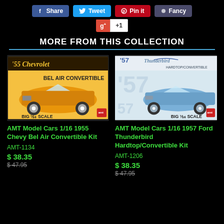[Figure (screenshot): Social share buttons: Facebook Share (blue), Twitter Tweet (light blue), Pinterest Pin it (red), Fancy (dark blue-gray)]
[Figure (screenshot): Google +1 button]
MORE FROM THIS COLLECTION
[Figure (photo): AMT Model Car box art: 1955 Chevy Bel Air Convertible in gold/yellow, BIG 1/16 Scale, AMT logo]
AMT Model Cars 1/16 1955 Chevy Bel Air Convertible Kit
AMT-1134
$ 38.35
$ 47.95
[Figure (photo): AMT Model Car box art: 1957 Ford Thunderbird Hardtop/Convertible in blue, BIG 1/16 Scale, AMT logo]
AMT Model Cars 1/16 1957 Ford Thunderbird Hardtop/Convertible Kit
AMT-1206
$ 38.35
$ 47.95